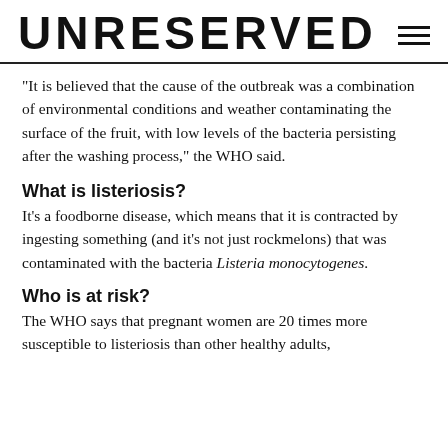UNRESERVED
"It is believed that the cause of the outbreak was a combination of environmental conditions and weather contaminating the surface of the fruit, with low levels of the bacteria persisting after the washing process," the WHO said.
What is listeriosis?
It's a foodborne disease, which means that it is contracted by ingesting something (and it's not just rockmelons) that was contaminated with the bacteria Listeria monocytogenes.
Who is at risk?
The WHO says that pregnant women are 20 times more susceptible to listeriosis than other healthy adults,